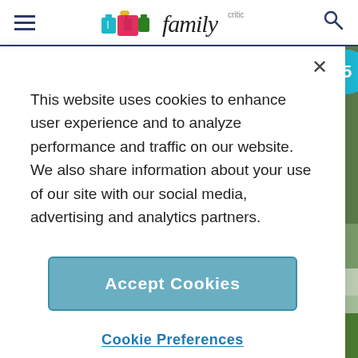Family Critic — navigation bar with hamburger menu and search icon
This website uses cookies to enhance user experience and to analyze performance and traffic on our website. We also share information about your use of our site with our social media, advertising and analytics partners.
Accept Cookies
Cookie Preferences
[Figure (screenshot): Hotel or restaurant exterior photo with trees and green lawn, with a 'Trader Duke's' sign visible. Carousel navigation arrows on left and right, six dots at the bottom (first dot filled/active).]